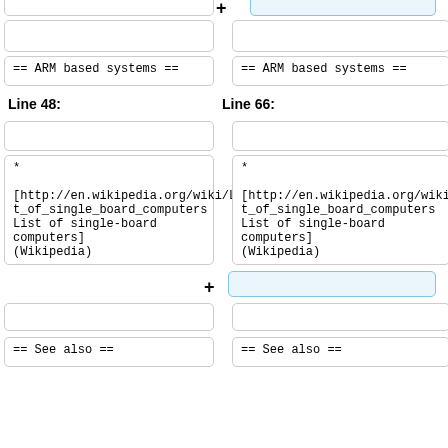[Figure (screenshot): Diff view top partial: two columns with cell boxes, left empty, right has blue highlighted empty box with plus sign, then both have empty cells, then both show '== ARM based systems ==' cells.]
Line 48:
Line 66:
[Figure (screenshot): Diff view bottom: two columns with empty cells, then both show wiki link text boxes with asterisk and http://en.wikipedia.org/wiki/List_of_single_board_computers List of single-board computers (Wikipedia), then right column has blue highlighted plus box, then both have empty cells, then both show '== See also ==' cells.]